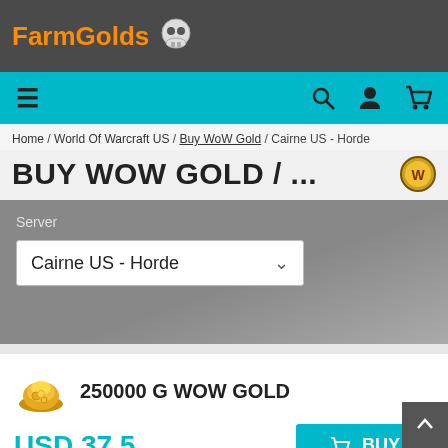FarmGolds
≡  🔍  👤  🛒
Home / World Of Warcraft US / Buy WoW Gold / Cairne US - Horde
BUY WOW GOLD / ...
Server
Cairne US - Horde
250000 G WOW GOLD
USD 37.5
BUY